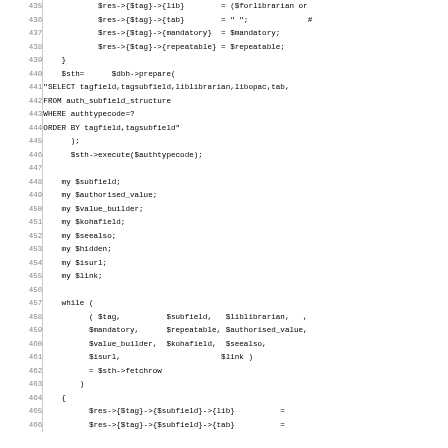Source code listing lines 435-466 showing Perl code for database query and subfield variable declarations
435     $res->{$tag}->{lib}        = ($forlibrarian or
436     $res->{$tag}->{tab}        = " ";          #
437     $res->{$tag}->{mandatory}  = $mandatory;
438     $res->{$tag}->{repeatable} = $repeatable;
439 }
440   $sth=      $dbh->prepare(
441 "SELECT tagfield,tagsubfield,liblibrarian,libopac,tab,
442 FROM auth_subfield_structure
443 WHERE authtypecode=?
444 ORDER BY tagfield,tagsubfield"
445       );
446       $sth->execute($authtypecode);
447
448     my $subfield;
449     my $authorised_value;
450     my $value_builder;
451     my $kohafield;
452     my $seealso;
453     my $hidden;
454     my $isurl;
455     my $link;
456
457     while (
458           ( $tag,          $subfield,   $liblibrarian,  ,
459           $mandatory,      $repeatable, $authorised_value,
460           $value_builder,  $kohafield,  $seealso,
461           $isurl,                       $link )
462           = $sth->fetchrow
463         )
464     {
465           $res->{$tag}->{$subfield}->{lib}          =
466           $res->{$tag}->{$subfield}->{tab}          =